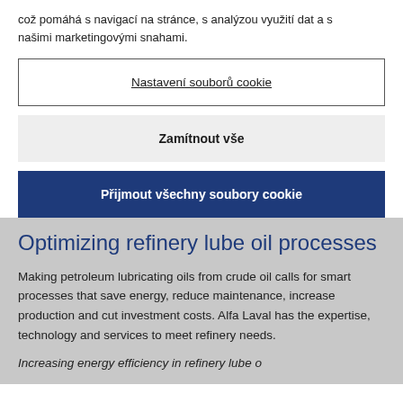což pomáhá s navigací na stránce, s analýzou využití dat a s našimi marketingovými snahami.
Nastavení souborů cookie
Zamítnout vše
Přijmout všechny soubory cookie
Optimizing refinery lube oil processes
Making petroleum lubricating oils from crude oil calls for smart processes that save energy, reduce maintenance, increase production and cut investment costs. Alfa Laval has the expertise, technology and services to meet refinery needs.
Increasing energy efficiency in refinery lube o